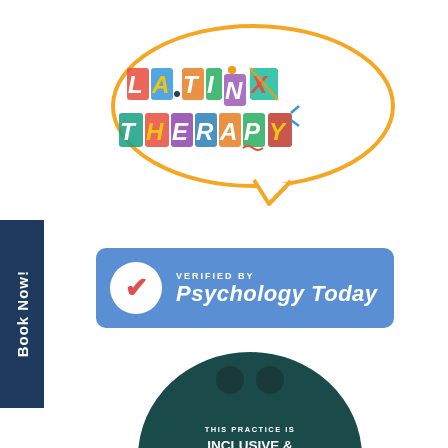[Figure (logo): Latinx Therapy logo with colorful speech bubble containing the words LATINX THERAPY in multicolored decorative letters]
Book Now!
[Figure (logo): Verified by Psychology Today badge with blue background, white circle checkmark in red, and white text]
[Figure (logo): This practice is INCLUSIVE & WELCOMING TO ALL badge with dark teal circular background and orange figure silhouette]